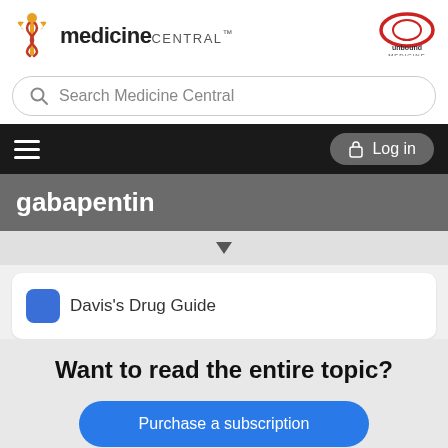[Figure (logo): Medicine Central logo with caduceus symbol on the left and Unbound Medicine logo on the right]
Search Medicine Central
Log in
gabapentin
Davis's Drug Guide
Want to read the entire topic?
Purchase a subscription
I'm already a subscriber
Browse sample topics